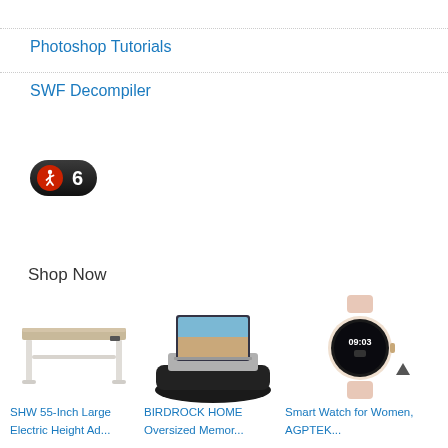Photoshop Tutorials
SWF Decompiler
[Figure (other): Dark pill-shaped badge with a red walking person icon and the number 6 in white]
Shop Now
[Figure (photo): SHW 55-Inch Large Electric Height Adjustable standing desk with light wood top and white frame legs]
[Figure (photo): BIRDROCK HOME Oversized Memory Foam lap desk with laptop and black cushion base]
[Figure (photo): Smart Watch for Women, AGPTEK gold-toned round smartwatch with pink band showing 09:03]
SHW 55-Inch Large Electric Height Ad...
BIRDROCK HOME Oversized Memor...
Smart Watch for Women, AGPTEK...